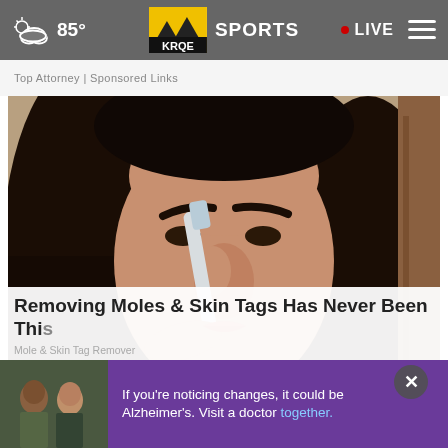85° KRQE SPORTS • LIVE
Top Attorney | Sponsored Links
[Figure (photo): Close-up photo of a dark-haired woman using a tool (toothbrush-like device) on her nose, skin care context]
Removing Moles & Skin Tags Has Never Been This
Mole & Skin Tag Remover
[Figure (photo): Ad banner with two men sitting together and purple background text about Alzheimer's awareness]
If you're noticing changes, it could be Alzheimer's. Visit a doctor together.